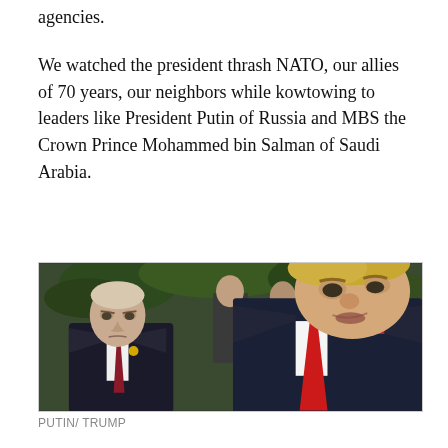agencies.
We watched the president thrash NATO, our allies of 70 years, our neighbors while kowtowing to leaders like President Putin of Russia and MBS the Crown Prince Mohammed bin Salman of Saudi Arabia.
[Figure (photo): Photo of Vladimir Putin and Donald Trump in close conversation, both wearing dark suits. Putin wears a dark red tie, Trump wears a bright red tie. Other figures visible in background among green foliage.]
PUTIN/ TRUMP